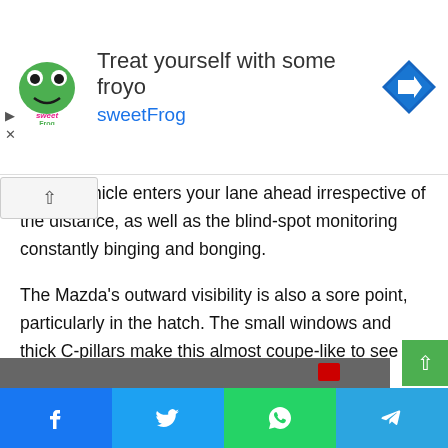[Figure (infographic): Advertisement banner for sweetFrog frozen yogurt. Shows sweetFrog logo on left, text 'Treat yourself with some froyo' and 'sweetFrog' in cyan, and a blue navigation/directions icon on the right.]
ever a vehicle enters your lane ahead irrespective of the distance, as well as the blind-spot monitoring constantly binging and bonging.
The Mazda's outward visibility is also a sore point, particularly in the hatch. The small windows and thick C-pillars make this almost coupe-like to see out of. Luckily the Astina grade packs in surround cameras and sensors.
On the road, the Audi pips the Mazda thanks to its more mature manners and more efficient mild-hybrid system.
[Figure (photo): Partial view of a car at the bottom of the page, showing a dark-colored vehicle with a red accent.]